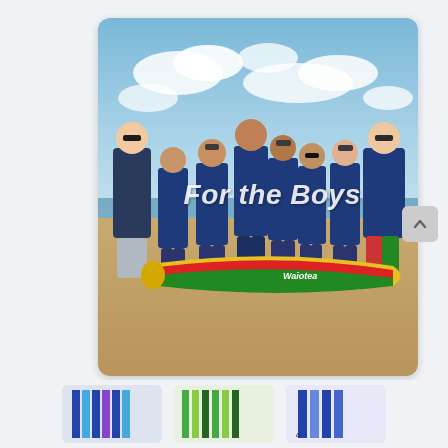[Figure (photo): Group of boys and adults on a beach holding a colorful (yellow, red, green) Waiotea surfboard. Blue sky with clouds in background. Text overlay reads 'For the Boys' in white italic text.]
[Figure (photo): Bottom strip showing partial view of surfboards with colorful stripes, partially cropped.]